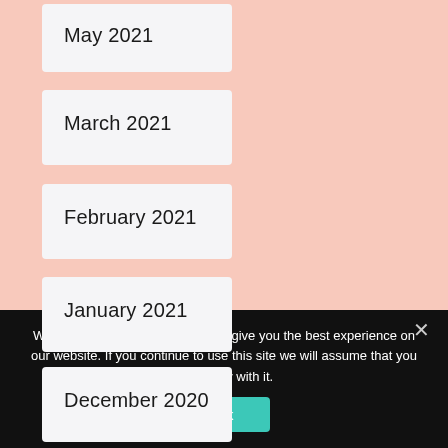May 2021
March 2021
February 2021
January 2021
December 2020
We use cookies to ensure that we give you the best experience on our website. If you continue to use this site we will assume that you are happy with it.
Ok